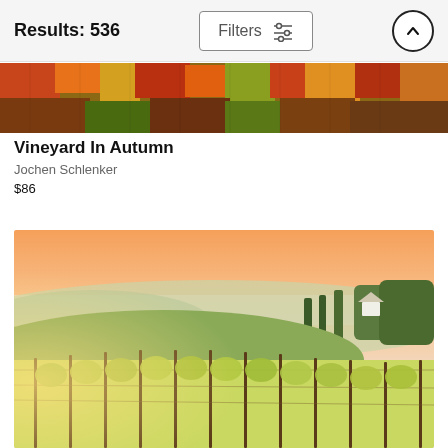Results: 536  Filters
[Figure (photo): Cropped top of a vineyard in autumn with colorful orange, red and yellow foliage filling the frame]
Vineyard In Autumn
Jochen Schlenker
$86
[Figure (photo): A lush green vineyard at golden hour/sunset with warm orange-pink sky, rolling Tuscan hills, cypress trees, and a white farmhouse in the background]